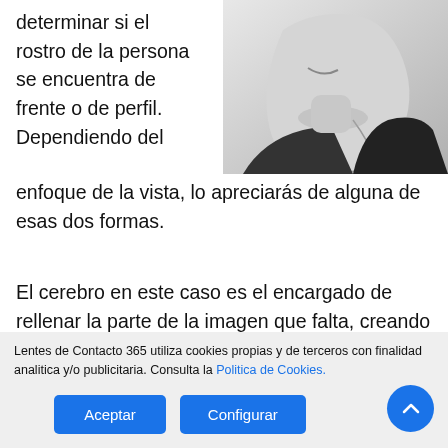determinar si el rostro de la persona se encuentra de frente o de perfil. Dependiendo del enfoque de la vista, lo apreciarás de alguna de esas dos formas.
[Figure (photo): Black and white profile photo of a person's face and neck in side view, wearing a dark jacket]
El cerebro en este caso es el encargado de rellenar la parte de la imagen que falta, creando una supuesta visión completa de la imagen que se está viendo. Todo
Lentes de Contacto 365 utiliza cookies propias y de terceros con finalidad analitica y/o publicitaria. Consulta la Politica de Cookies.